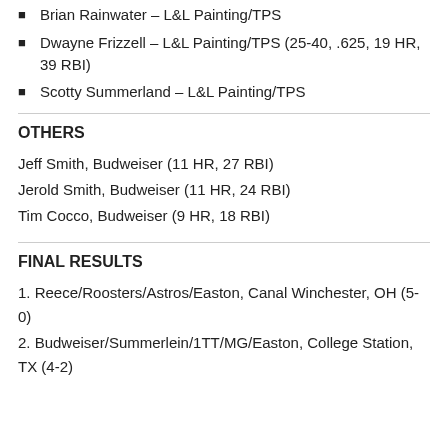Brian Rainwater – L&L Painting/TPS
Dwayne Frizzell – L&L Painting/TPS (25-40, .625, 19 HR, 39 RBI)
Scotty Summerland – L&L Painting/TPS
OTHERS
Jeff Smith, Budweiser (11 HR, 27 RBI)
Jerold Smith, Budweiser (11 HR, 24 RBI)
Tim Cocco, Budweiser (9 HR, 18 RBI)
FINAL RESULTS
1. Reece/Roosters/Astros/Easton, Canal Winchester, OH (5-0)
2. Budweiser/Summerlein/1TT/MG/Easton, College Station, TX (4-2)